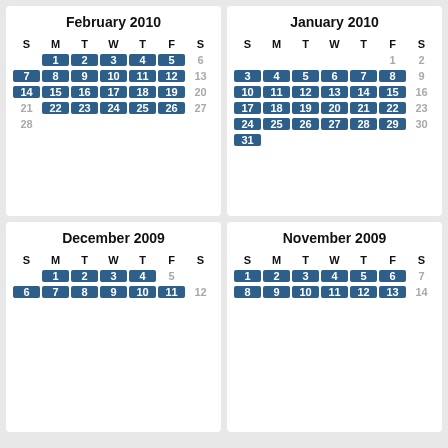[Figure (other): February 2010 calendar with weekdays Mon-Fri highlighted in blue. Days 1-5 (Mon-Fri), 7-12, 14-19, 22-26 highlighted. 6,13,20,27 in gray. 21,28 in gray.]
[Figure (other): January 2010 calendar with weekdays Mon-Fri highlighted in blue. Days 3-8, 10-15, 17-22, 24-29, 31 highlighted. 1,2,9,16,23,30 in gray.]
[Figure (other): December 2009 calendar with weekdays Mon-Fri highlighted in blue. Days 1-4, 6-11 (partial) highlighted.]
[Figure (other): November 2009 calendar with weekdays Mon-Fri highlighted in blue. Days 1-6, 8-13 (partial) highlighted.]